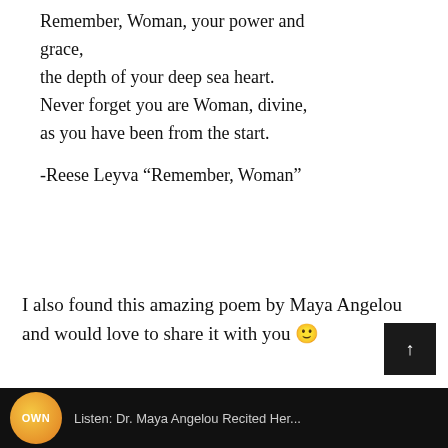Remember, Woman, your power and grace,
the depth of your deep sea heart.
Never forget you are Woman, divine,
as you have been from the start.

-Reese Leyva “Remember, Woman”
I also found this amazing poem by Maya Angelou and would love to share it with you 🙂
[Figure (screenshot): Video thumbnail bar showing OWN network logo and text 'Listen: Dr. Maya Angelou Recited Her...' on a dark background]